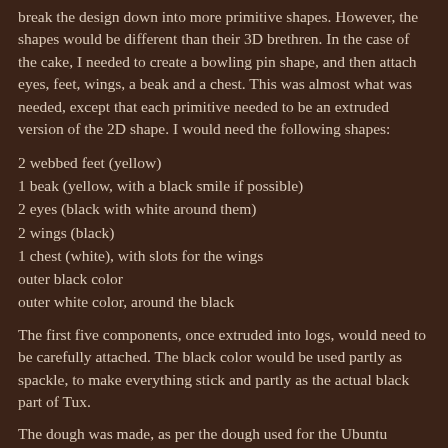break the design down into more primitive shapes. However, the shapes would be different than their 3D brethren. In the case of the cake, I needed to create a bowling pin shape, and then attach eyes, feet, wings, a beak and a chest. This was almost what was needed, except that each primitive needed to be an extruded version of the 2D shape. I would need the following shapes:
2 webbed feet (yellow)
1 beak (yellow, with a black smile if possible)
2 eyes (black with white around them)
2 wings (black)
1 chest (white), with slots for the wings
outer black color
outer white color, around the black
The first five components, once extruded into logs, would need to be carefully attached. The black color would be used partly as spackle, to make everything stick and partly as the actual black part of Tux.
The dough was made, as per the dough used for the Ubuntu cookies. A small part was set aside and colored with bit...